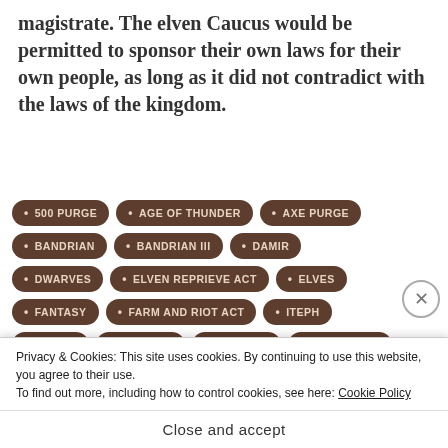magistrate. The elven Caucus would be permitted to sponsor their own laws for their own people, as long as it did not contradict with the laws of the kingdom.
500 PURGE
AGE OF THUNDER
AXE PURGE
BANDRIAN
BANDRIAN III
DAMIR
DWARVES
ELVEN REPRIEVE ACT
ELVES
FANTASY
FARM AND RIOT ACT
ITEPH
JERIKO
KINGDOM
MALTHUS
MERRIMONT
MORTIMUS
NUBRINCE
ORCS
ORINGARD
Privacy & Cookies: This site uses cookies. By continuing to use this website, you agree to their use.
To find out more, including how to control cookies, see here: Cookie Policy
Close and accept